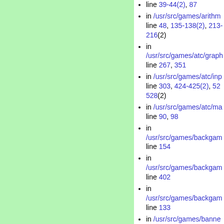[Figure (other): Light green panel on the left side of the page]
in /usr/src/games/arithm line 48, 135-138(2), 213-216(2)
in /usr/src/games/atc/graph line 267, 351
in /usr/src/games/atc/inp line 303, 424-425(2), 527-528(2)
in /usr/src/games/atc/ma line 90, 98
in /usr/src/games/backgam line 154
in /usr/src/games/backgam line 402
in /usr/src/games/backgam line 133
in /usr/src/games/banne 1079, 1096, 1131
in /usr/src/games/battlestar